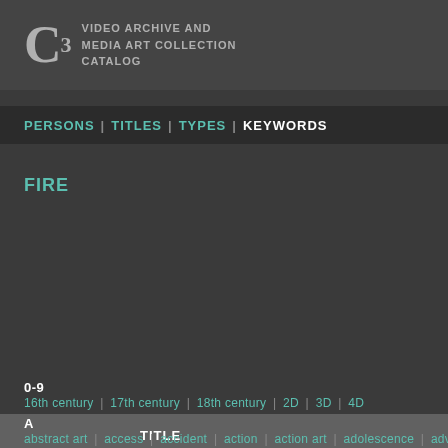C3 VIDEO ARCHIVE AND MEDIA ART COLLECTION CATALOG
PERSONS | TITLES | TYPES | KEYWORDS
FIRE
| TITLE |
| --- |
| Love |
| One Lux |
0-9
16th century | 17th century | 18th century | 2D | 3D | 4D
A
abstract art | access | accident | action | action art | adolescence | advertising | ae